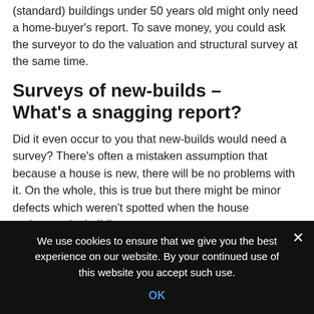(standard) buildings under 50 years old might only need a home-buyer's report. To save money, you could ask the surveyor to do the valuation and structural survey at the same time.
Surveys of new-builds – What's a snagging report?
Did it even occur to you that new-builds would need a survey? There's often a mistaken assumption that because a house is new, there will be no problems with it. On the whole, this is true but there might be minor defects which weren't spotted when the house underwent its building
We use cookies to ensure that we give you the best experience on our website. By your continued use of this website you accept such use.
OK